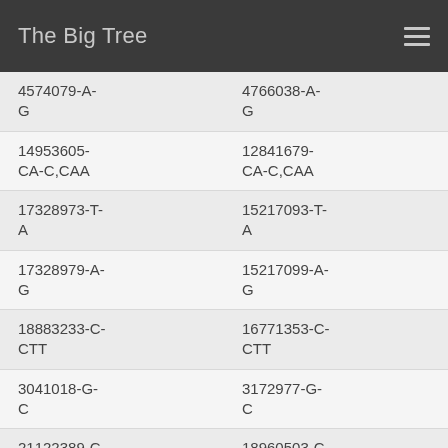The Big Tree
| 4574079-A-G | 4766038-A-G |
| 14953605-CA-C,CAA | 12841679-CA-C,CAA |
| 17328973-T-A | 15217093-T-A |
| 17328979-A-G | 15217099-A-G |
| 18883233-C-CTT | 16771353-C-CTT |
| 3041018-G-C | 3172977-G-C |
| 21122389-C-T | 18960503-C-T |
| 4269102-G-... | 4401221-G-... |